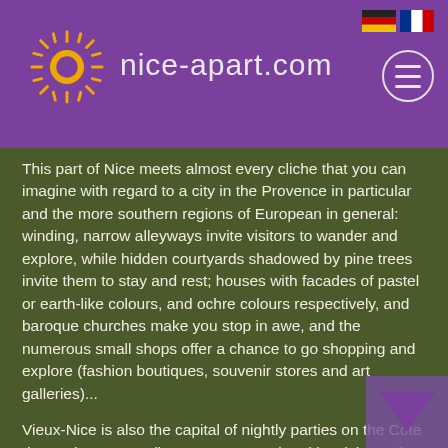nice-apart.com
This part of Nice meets almost every cliche that you can imagine with regard to a city in the Provence in particular and the more southern regions of European in general: winding, narrow alleyways invite visitors to wander and explore, while hidden courtyards shadowed by pine trees invite them to stay and rest; houses with facades of pastel or earth-like colours, and ochre colours respectively, and baroque churches make you stop in awe, and the numerous small shops offer a chance to go shopping and explore (fashion boutiques, souvenir stores and art galleries)...
Vieux-Nice is also the capital of nightly parties on the Cote d'Azur; its narrow alleyways are populated by visitors of restaurants, bars, pubs and discotheques. At night, this is a go-to place for tourists and Nice's residents alike. The morning after, the city returns to